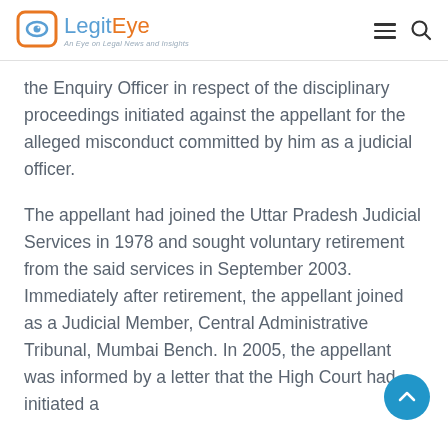LegitEye – An Eye on Legal News and Insights
the Enquiry Officer in respect of the disciplinary proceedings initiated against the appellant for the alleged misconduct committed by him as a judicial officer.
The appellant had joined the Uttar Pradesh Judicial Services in 1978 and sought voluntary retirement from the said services in September 2003. Immediately after retirement, the appellant joined as a Judicial Member, Central Administrative Tribunal, Mumbai Bench. In 2005, the appellant was informed by a letter that the High Court had initiated a